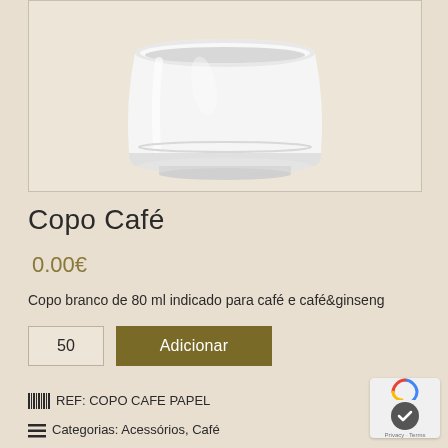[Figure (photo): White ceramic espresso cup photographed from slightly above against a beige/tan background, showing the bottom portion of the cup on a light surface inside a bordered frame.]
Copo Café
0.00€
Copo branco de 80 ml indicado para café e café&ginseng
50
Adicionar
REF: COPO CAFE PAPEL
Categorias: Acessórios, Café